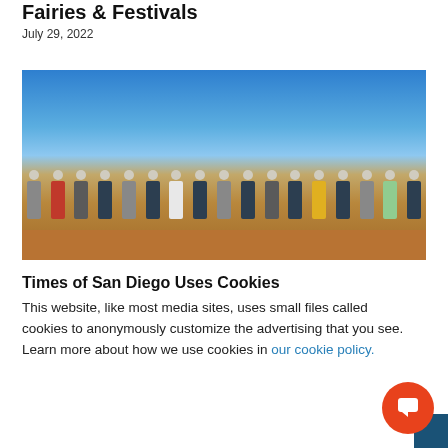Fairies & Festivals
July 29, 2022
[Figure (photo): Group of people wearing white hard hats standing in a row on a dirt construction site, each holding a shovel, posing for a groundbreaking ceremony photo. Blue sky in background.]
Times of San Diego Uses Cookies
This website, like most media sites, uses small files called cookies to anonymously customize the advertising that you see. Learn more about how we use cookies in our cookie policy.